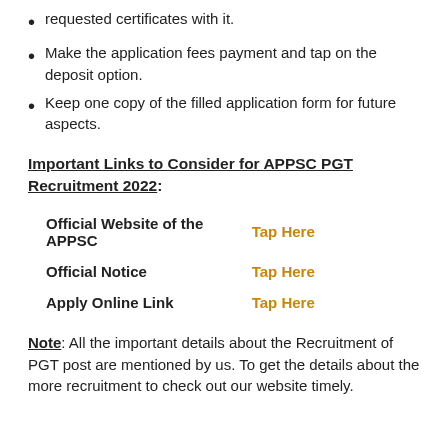requested certificates with it.
Make the application fees payment and tap on the deposit option.
Keep one copy of the filled application form for future aspects.
Important Links to Consider for APPSC PGT Recruitment 2022:
|  |  |
| --- | --- |
| Official Website of the APPSC | Tap Here |
| Official Notice | Tap Here |
| Apply Online Link | Tap Here |
Note: All the important details about the Recruitment of PGT post are mentioned by us. To get the details about the more recruitment to check out our website timely.